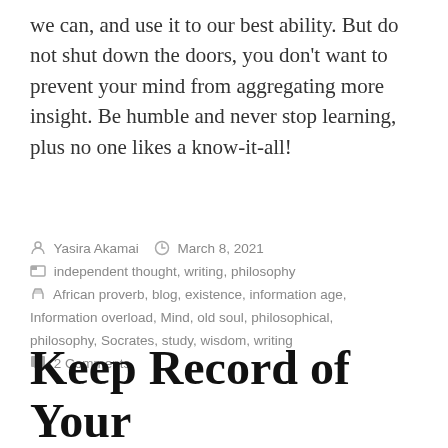we can, and use it to our best ability. But do not shut down the doors, you don't want to prevent your mind from aggregating more insight. Be humble and never stop learning, plus no one likes a know-it-all!
Yasira Akamai  March 8, 2021
independent thought, writing, philosophy
African proverb, blog, existence, information age, Information overload, Mind, old soul, philosophical, philosophy, Socrates, study, wisdom, writing
2 Comments
Keep Record of Your